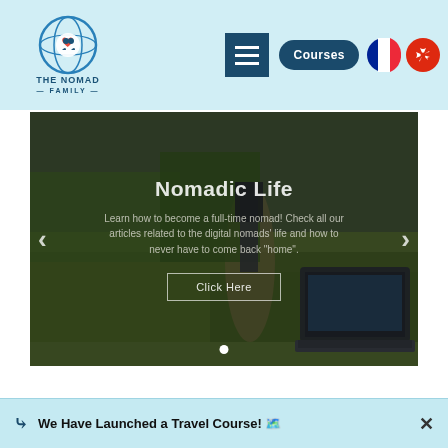[Figure (logo): The Nomad Family logo with circular globe/family icon, text THE NOMAD FAMILY]
[Figure (screenshot): Website navigation bar with hamburger menu icon, Courses button, French flag and Hong Kong flag icons]
[Figure (photo): Hero image slider showing a laptop on grass outdoors with a path and trees in background. Overlay text: 'Nomadic Life', subtitle about becoming a full-time nomad, 'Click Here' button, navigation arrows, and dot indicator.]
We Have Launched a Travel Course! 🗺️